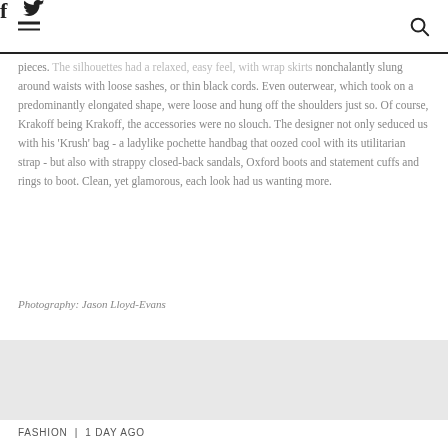f [twitter] [search]
pieces. The silhouettes had a relaxed, easy feel, with wrap skirts nonchalantly slung around waists with loose sashes, or thin black cords. Even outerwear, which took on a predominantly elongated shape, were loose and hung off the shoulders just so. Of course, Krakoff being Krakoff, the accessories were no slouch. The designer not only seduced us with his 'Krush' bag - a ladylike pochette handbag that oozed cool with its utilitarian strap - but also with strappy closed-back sandals, Oxford boots and statement cuffs and rings to boot. Clean, yet glamorous, each look had us wanting more.
Photography: Jason Lloyd-Evans
FASHION | 1 DAY AGO